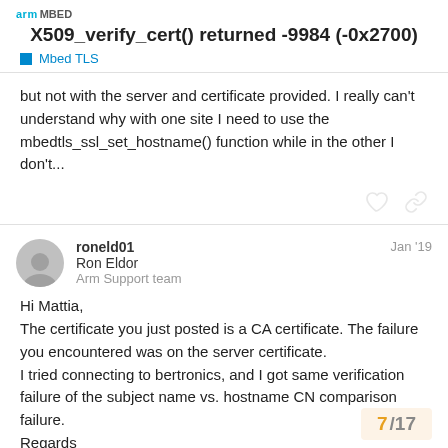X509_verify_cert() returned -9984 (-0x2700)
Mbed TLS
but not with the server and certificate provided. I really can't understand why with one site I need to use the mbedtls_ssl_set_hostname() function while in the other I don't...
roneld01  Jan '19
Ron Eldor
Arm Support team
Hi Mattia,
The certificate you just posted is a CA certificate. The failure you encountered was on the server certificate.
I tried connecting to bertronics, and I got same verification failure of the subject name vs. hostname CN comparison failure.
Regards
Ron.
7 / 17